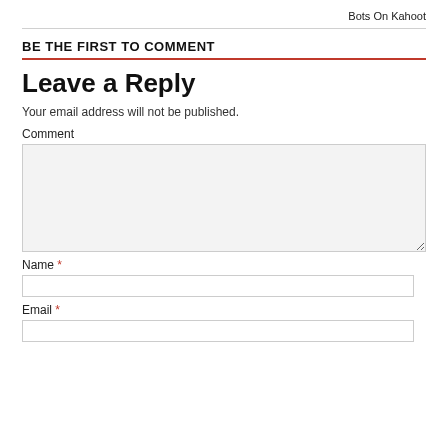Bots On Kahoot
BE THE FIRST TO COMMENT
Leave a Reply
Your email address will not be published.
Comment
Name *
Email *